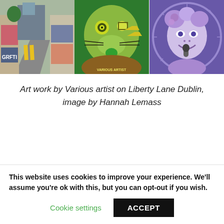[Figure (photo): Three street art photos on Liberty Lane Dublin: left shows a lane with graffiti on walls, center shows a green lion/animal mural, right shows a purple portrait mural of a woman with flowers]
Art work by Various artist on Liberty Lane Dublin, image by Hannah Lemass
One of the most famous...in Dublin...
This website uses cookies to improve your experience. We'll assume you're ok with this, but you can opt-out if you wish.
Cookie settings
ACCEPT